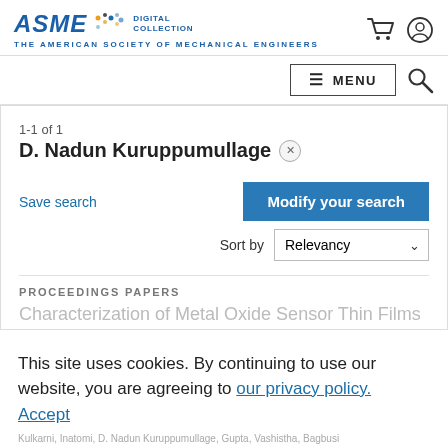ASME DIGITAL COLLECTION — THE AMERICAN SOCIETY OF MECHANICAL ENGINEERS
MENU
1-1 of 1
D. Nadun Kuruppumullage
Save search
Modify your search
Sort by Relevancy
PROCEEDINGS PAPERS
Characterization of Metal Oxide Sensor Thin Films
This site uses cookies. By continuing to use our website, you are agreeing to our privacy policy. Accept